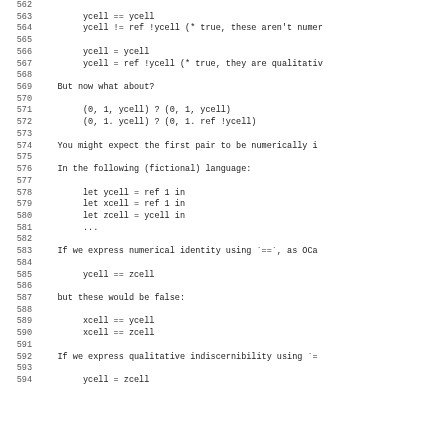Code listing lines 562-594 showing programming language equality and identity comparisons with ycell, xcell, zcell references